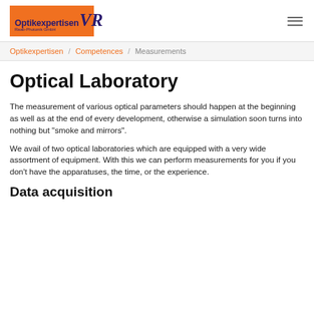[Figure (logo): Optikexpertisen VR Raab-Photonik GmbH logo on orange background]
Optikexpertisen / Competences / Measurements
Optical Laboratory
The measurement of various optical parameters should happen at the beginning as well as at the end of every development, otherwise a simulation soon turns into nothing but "smoke and mirrors".
We avail of two optical laboratories which are equipped with a very wide assortment of equipment. With this we can perform measurements for you if you don't have the apparatuses, the time, or the experience.
Data acquisition